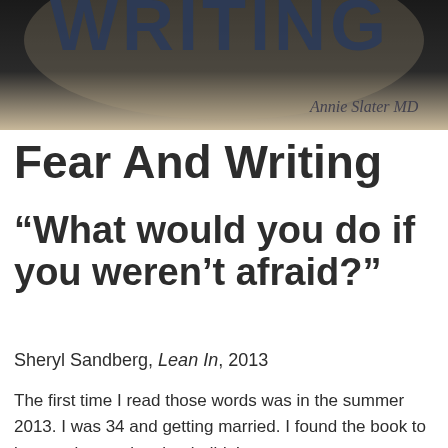[Figure (photo): Book cover image showing 'WRITING' text partially visible at top, dark background fading to beige/cream, with author name 'Annie Slater MD' in cursive script at bottom right]
Fear And Writing
“What would you do if you weren’t afraid?”
Sheryl Sandberg, Lean In, 2013
The first time I read those words was in the summer 2013. I was 34 and getting married. I found the book to be very interesting, but it didn’t